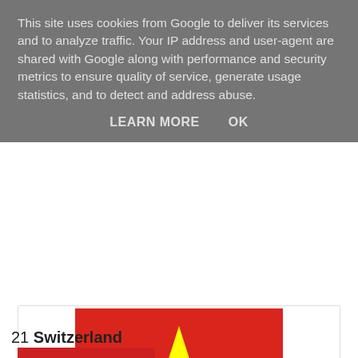This site uses cookies from Google to deliver its services and to analyze traffic. Your IP address and user-agent are shared with Google along with performance and security metrics to ensure quality of service, generate usage statistics, and to detect and address abuse.
LEARN MORE   OK
[Figure (illustration): Flag of Vietnam: red background with a large yellow five-pointed star in the center]
It's not a unique design (Somalia has the same one but with a white star on a sky blue background), but something about this flag just screams "I AM VIETNAM". You'd probably guess it was the Vietnamese flag even if you didn't know. It is almost unimaginably beautiful as a piece of design.
21 Switzerland